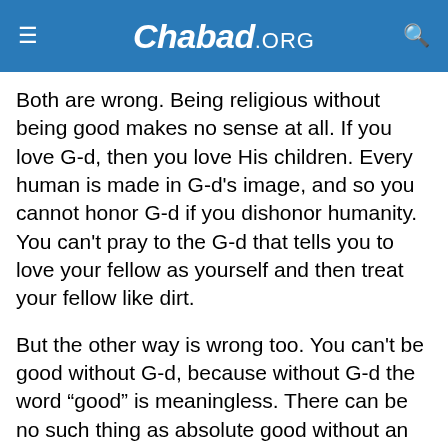Chabad.ORG
Both are wrong. Being religious without being good makes no sense at all. If you love G-d, then you love His children. Every human is made in G-d's image, and so you cannot honor G-d if you dishonor humanity. You can't pray to the G-d that tells you to love your fellow as yourself and then treat your fellow like dirt.
But the other way is wrong too. You can't be good without G-d, because without G-d the word “good” is meaningless. There can be no such thing as absolute good without an absolute source. If morality is relative, then it can be defined however I want it to be defined. There can be no objective